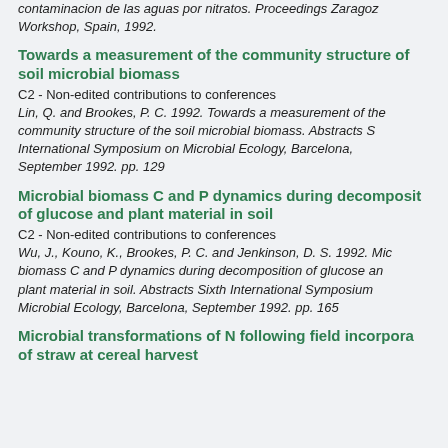contaminacion de las aguas por nitratos. Proceedings Zaragoza Workshop, Spain, 1992.
Towards a measurement of the community structure of soil microbial biomass
C2 - Non-edited contributions to conferences
Lin, Q. and Brookes, P. C. 1992. Towards a measurement of the community structure of the soil microbial biomass. Abstracts Sixth International Symposium on Microbial Ecology, Barcelona, September 1992. pp. 129
Microbial biomass C and P dynamics during decomposition of glucose and plant material in soil
C2 - Non-edited contributions to conferences
Wu, J., Kouno, K., Brookes, P. C. and Jenkinson, D. S. 1992. Microbial biomass C and P dynamics during decomposition of glucose and plant material in soil. Abstracts Sixth International Symposium on Microbial Ecology, Barcelona, September 1992. pp. 165
Microbial transformations of N following field incorporation of straw at cereal harvest